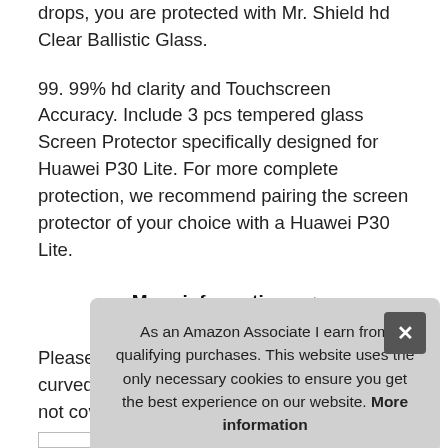drops, you are protected with Mr. Shield hd Clear Ballistic Glass.
99. 99% hd clarity and Touchscreen Accuracy. Include 3 pcs tempered glass Screen Protector specifically designed for Huawei P30 Lite. For more complete protection, we recommend pairing the screen protector of your choice with a Huawei P30 Lite.
More information #ad
Please note: huawei p30 lite screens has curved edges that our screen protectors do not cover 100%, as they would peel over time causing customer frustration. We designed our scre... devi... Shie...
As an Amazon Associate I earn from qualifying purchases. This website uses the only necessary cookies to ensure you get the best experience on our website. More information